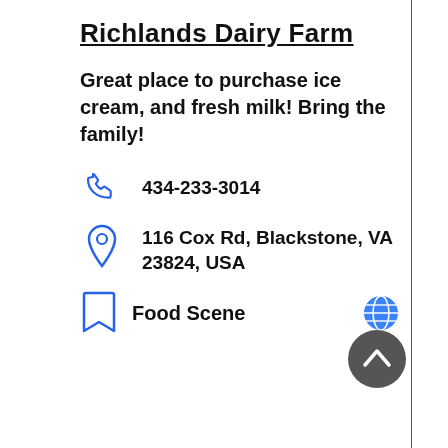Richlands Dairy Farm
Great place to purchase ice cream, and fresh milk! Bring the family!
434-233-3014
116 Cox Rd, Blackstone, VA 23824, USA
Food Scene